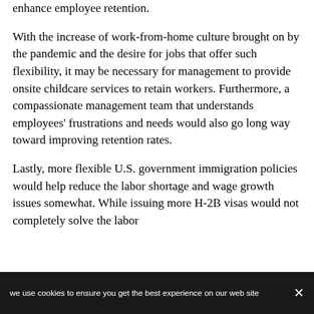enhance employee retention.
With the increase of work-from-home culture brought on by the pandemic and the desire for jobs that offer such flexibility, it may be necessary for management to provide onsite childcare services to retain workers. Furthermore, a compassionate management team that understands employees' frustrations and needs would also go long way toward improving retention rates.
Lastly, more flexible U.S. government immigration policies would help reduce the labor shortage and wage growth issues somewhat. While issuing more H-2B visas would not completely solve the labor
we use cookies to ensure you get the best experience on our website